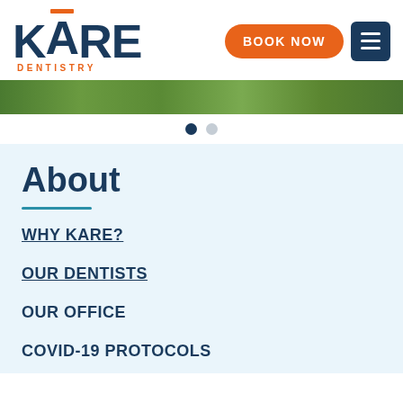[Figure (logo): KARE Dentistry logo with dark blue KARE text, orange bar accent over A, and orange DENTISTRY subtitle]
[Figure (photo): Hero image strip showing treetops and outdoor scenery]
[Figure (other): Slider pagination dots: one filled dark, one light gray]
About
WHY KARE?
OUR DENTISTS
OUR OFFICE
COVID-19 PROTOCOLS